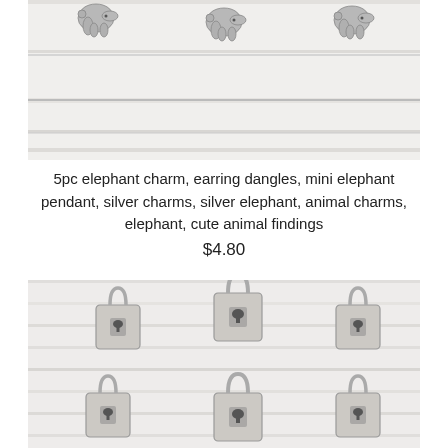[Figure (photo): Silver elephant charms/pendants arranged on a white painted wood background]
5pc elephant charm, earring dangles, mini elephant pendant, silver charms, silver elephant, animal charms, elephant, cute animal findings
$4.80
[Figure (photo): Silver padlock charms arranged on a white painted wood background]